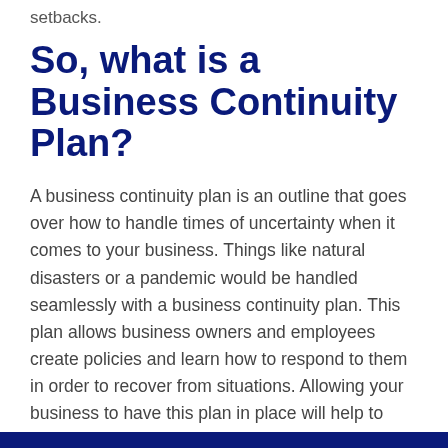setbacks.
So, what is a Business Continuity Plan?
A business continuity plan is an outline that goes over how to handle times of uncertainty when it comes to your business. Things like natural disasters or a pandemic would be handled seamlessly with a business continuity plan. This plan allows business owners and employees create policies and learn how to respond to them in order to recover from situations. Allowing your business to have this plan in place will help to keep things functioning as normal.